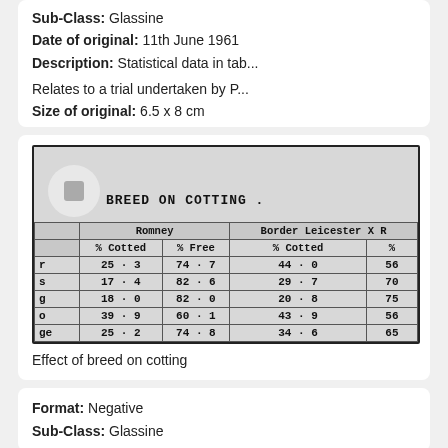Sub-Class: Glassine
Date of original: 11th June 1961
Description: Statistical data in tab...
Relates to a trial undertaken by P...
Size of original: 6.5 x 8 cm
[Figure (photo): Black and white scanned image of a statistical table titled 'BREED ON COTTING.' showing Romney and Border Leicester X breeds with % Cotted and % Free columns. Data rows: 25·3 / 74·7 / 44·0 / 56; 17·4 / 82·6 / 29·7 / 70; 18·0 / 82·0 / 20·8 / 75; 39·9 / 60·1 / 43·9 / 56; Total row: 25·2 / 74·8 / 34·6 / 65]
Effect of breed on cotting
Format: Negative
Sub-Class: Glassine